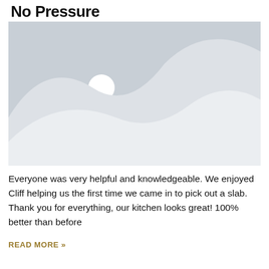No Pressure
[Figure (illustration): Placeholder image with grey mountain/landscape silhouette and a small white circle representing sun/moon on a light grey background]
Everyone was very helpful and knowledgeable. We enjoyed Cliff helping us the first time we came in to pick out a slab. Thank you for everything, our kitchen looks great! 100% better than before
READ MORE »